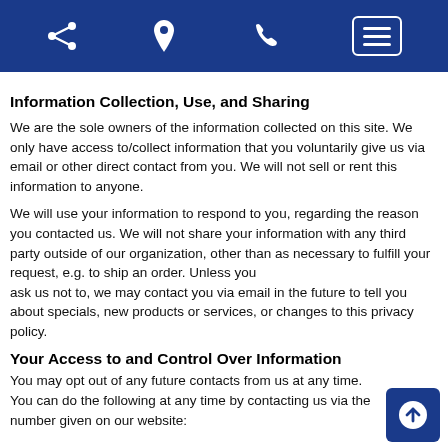[Navigation bar with share, location, phone icons and menu button]
Information Collection, Use, and Sharing
We are the sole owners of the information collected on this site. We only have access to/collect information that you voluntarily give us via email or other direct contact from you. We will not sell or rent this information to anyone.
We will use your information to respond to you, regarding the reason you contacted us. We will not share your information with any third party outside of our organization, other than as necessary to fulfill your request, e.g. to ship an order. Unless you
ask us not to, we may contact you via email in the future to tell you about specials, new products or services, or changes to this privacy policy.
Your Access to and Control Over Information
You may opt out of any future contacts from us at any time. You can do the following at any time by contacting us via the number given on our website: